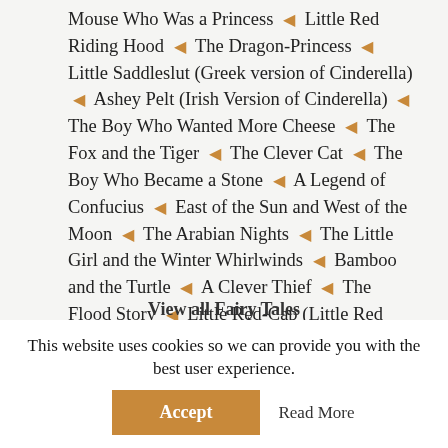Mouse Who Was a Princess ◆ Little Red Riding Hood ◆ The Dragon-Princess ◆ Little Saddleslut (Greek version of Cinderella) ◆ Ashey Pelt (Irish Version of Cinderella) ◆ The Boy Who Wanted More Cheese ◆ The Fox and the Tiger ◆ The Clever Cat ◆ The Boy Who Became a Stone ◆ A Legend of Confucius ◆ East of the Sun and West of the Moon ◆ The Arabian Nights ◆ The Little Girl and the Winter Whirlwinds ◆ Bamboo and the Turtle ◆ A Clever Thief ◆ The Flood Story ◆ Little Red-Cap (Little Red Riding Hood, Grimms' Version) ◆ Cinderella, or the Little Glass Slipper ◆ Aladdin and the Wonderful Lamp
View all Fairy Tales
This website uses cookies so we can provide you with the best user experience.
Accept
Read More